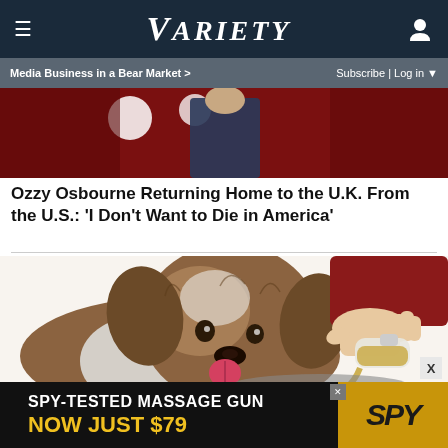≡  VARIETY  👤
Media Business in a Bear Market >   Subscribe | Log in ▼
[Figure (photo): Partially visible image of a person on stage with stage lighting, dark red/maroon background]
Ozzy Osbourne Returning Home to the U.K. From the U.S.: 'I Don't Want to Die in America'
[Figure (illustration): Illustration of a fluffy brown and white dog with tongue out, and a hand pouring liquid from a bottle into a bowl]
SPY-TESTED MASSAGE GUN
NOW JUST $79   SPY